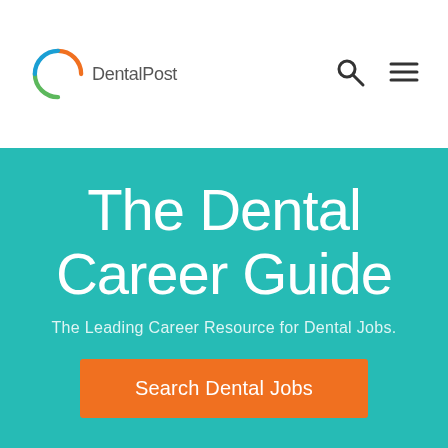DentalPost
The Dental Career Guide
The Leading Career Resource for Dental Jobs.
Search Dental Jobs